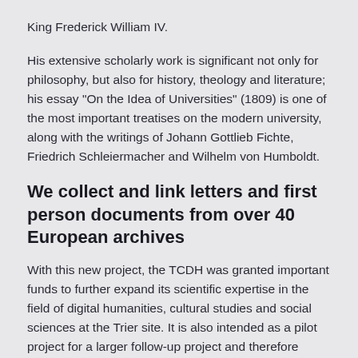King Frederick William IV.
His extensive scholarly work is significant not only for philosophy, but also for history, theology and literature; his essay "On the Idea of Universities" (1809) is one of the most important treatises on the modern university, along with the writings of Johann Gottlieb Fichte, Friedrich Schleiermacher and Wilhelm von Humboldt.
We collect and link letters and first person documents from over 40 European archives
With this new project, the TCDH was granted important funds to further expand its scientific expertise in the field of digital humanities, cultural studies and social sciences at the Trier site. It is also intended as a pilot project for a larger follow-up project and therefore initially focuses on the inventory and digital networking of the letters and first person documents in the possession of more than 40 European archives and libraries. It thus also creates the basis for further interdisciplinary research,